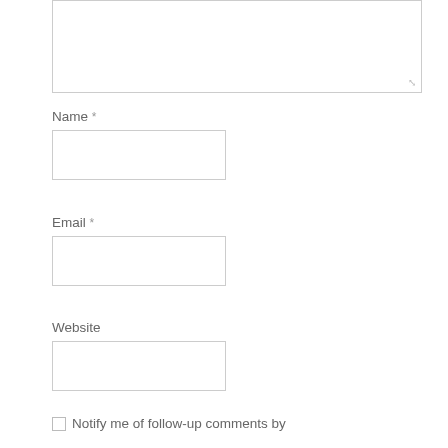[Figure (screenshot): A textarea input box, partially visible at the top of the page, with a resize handle at the bottom-right corner.]
Name *
[Figure (screenshot): A text input box for the Name field.]
Email *
[Figure (screenshot): A text input box for the Email field.]
Website
[Figure (screenshot): A text input box for the Website field.]
Notify me of follow-up comments by